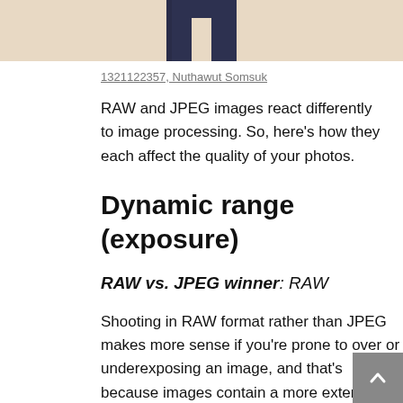[Figure (photo): Partial view of a person wearing dark navy pants against a beige/tan background, cropped showing only the lower torso/legs area.]
1321122357, Nuthawut Somsuk
RAW and JPEG images react differently to image processing. So, here's how they each affect the quality of your photos.
Dynamic range (exposure)
RAW vs. JPEG winner: RAW
Shooting in RAW format rather than JPEG makes more sense if you're prone to over or underexposing an image, and that's because images contain a more extensive dynamic range and color gamut than the JPEG image